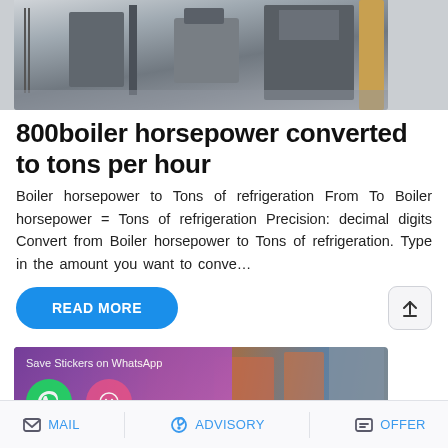[Figure (photo): Industrial boiler or heating equipment photographed outdoors, partially cropped at top]
800boiler horsepower converted to tons per hour
Boiler horsepower to Tons of refrigeration From To Boiler horsepower = Tons of refrigeration Precision: decimal digits Convert from Boiler horsepower to Tons of refrigeration. Type in the amount you want to conve…
[Figure (screenshot): Industrial boiler equipment photo with WhatsApp sticker save overlay showing purple/pink gradient and two emoji icons]
MAIL   ADVISORY   OFFER